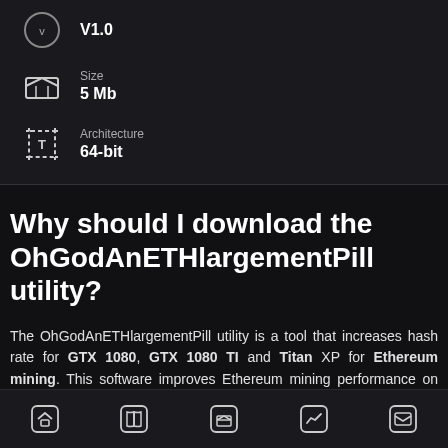V1.0
Size
5 Mb
Architecture
64-bit
Why should I download the OhGodAnETHlargementPill utility?
The OhGodAnETHlargementPill utility is a tool that increases hash rate for GTX 1080, GTX 1080 TI and Titan XP for Ethereum mining. This software improves Ethereum mining performance on NVIDIA GPUs with GDDR5X memory and it